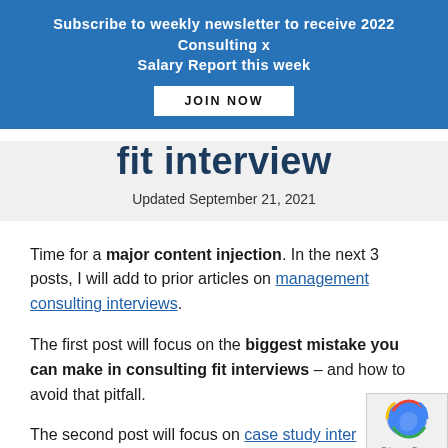Subscribe to weekly newsletter to receive 2022 Consulting x Salary Report this week
JOIN NOW
fit interview
Updated September 21, 2021
Time for a major content injection. In the next 3 posts, I will add to prior articles on management consulting interviews.
The first post will focus on the biggest mistake you can make in consulting fit interviews – and how to avoid that pitfall.
The second post will focus on case study inter…